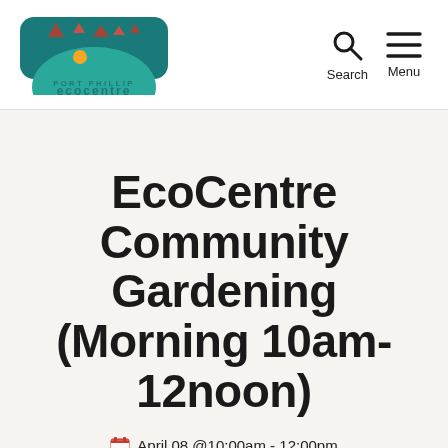[Figure (logo): Port Phillip EcoCentre logo — teal/dark teal rounded rectangle shape with colourful triangle shapes and an orange dot, with text PORT PHILLIP ecocentre below]
[Figure (other): Search icon (magnifying glass) and Menu icon (hamburger lines) navigation buttons in the header]
EcoCentre Community Gardening (Morning 10am-12noon)
April 08 @10:00am - 12:00pm